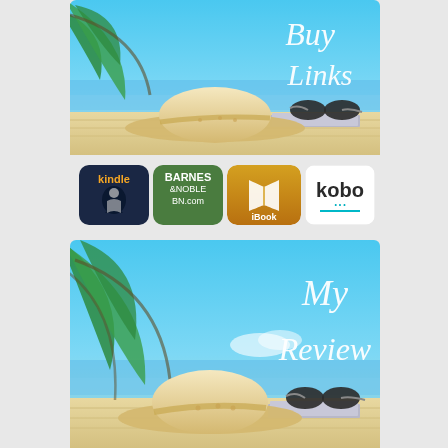[Figure (illustration): Beach scene banner with palm leaves, straw hat, sunglasses, and book. White cursive text reads 'Buy Links' on blue sky background.]
[Figure (illustration): Row of four retailer logos: Kindle (dark blue with person reading), Barnes & Noble BN.com (green), iBook (gold with open book), Kobo (white with teal text).]
[Figure (illustration): Beach scene banner with palm leaves, straw hat, sunglasses, and book. White cursive text reads 'My Review' on blue sky background.]